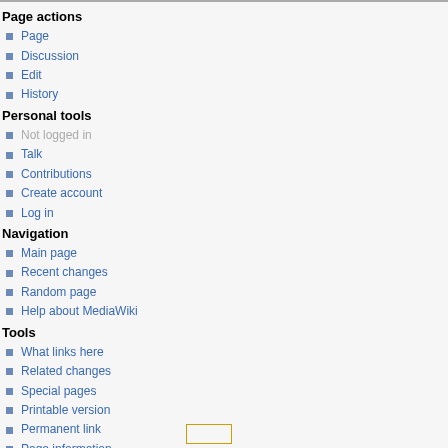Page actions
Page
Discussion
Edit
History
Personal tools
Not logged in
Talk
Contributions
Create account
Log in
Navigation
Main page
Recent changes
Random page
Help about MediaWiki
Tools
What links here
Related changes
Special pages
Printable version
Permanent link
Page information